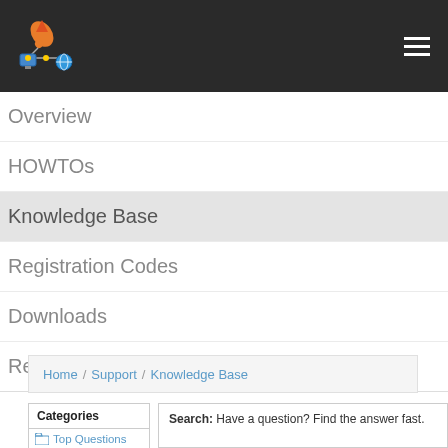Navigation bar with logo and hamburger menu
Overview
HOWTOs
Knowledge Base
Registration Codes
Downloads
Recommended Software
Home / Support / Knowledge Base
Categories
Top Questions
Search: Have a question? Find the answer fast.